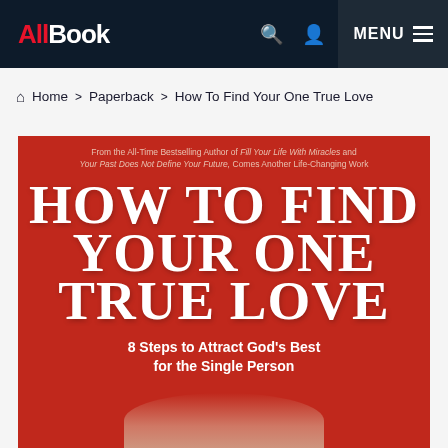AllBook | MENU
Home > Paperback > How To Find Your One True Love
[Figure (photo): Book cover of 'How To Find Your One True Love: 8 Steps to Attract God's Best for the Single Person'. Red cover with large white serif text. Tagline at top: 'From the All-Time Bestselling Author of Fill Your Life With Miracles and Your Past Does Not Define Your Future, Comes Another Life-Changing Work'. Bottom shows partial image of a person's face/hat.]